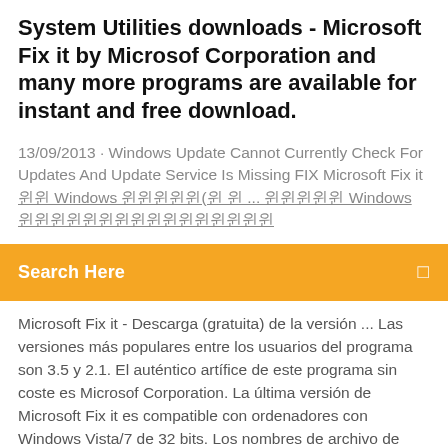System Utilities downloads - Microsoft Fix it by Microsof Corporation and many more programs are available for instant and free download.
13/09/2013 · Windows Update Cannot Currently Check For Updates And Update Service Is Missing FIX Microsoft Fix it 윈 Windows 윈도우(윈 윈 ... 윈윈윈윈 Windows 윈윈윈윈윈윈윈윈윈윈윈윈윈윈윈윈
Search Here
Microsoft Fix it - Descarga (gratuita) de la versión ... Las versiones más populares entre los usuarios del programa son 3.5 y 2.1. El auténtico artífice de este programa sin coste es Microsof Corporation. La última versión de Microsoft Fix it es compatible con ordenadores con Windows Vista/7 de 32 bits. Los nombres de archivo de instalación más frecuentes para esta herramienta son FixitCenter Download microsoft fix it windows 7 32 bit for free
Microsoft Easy Fix-oplossingen gebruiken "Microsoft Easy Fix"